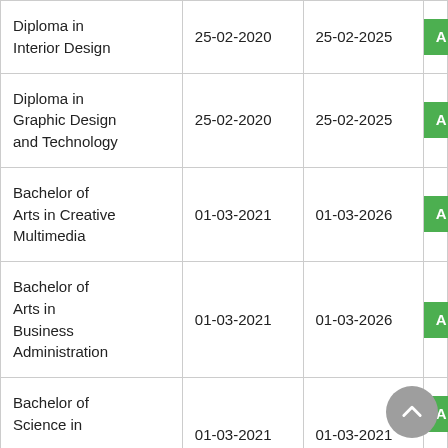| Programme | Start Date | End Date |  |
| --- | --- | --- | --- |
| Diploma in Interior Design | 25-02-2020 | 25-02-2025 | A |
| Diploma in Graphic Design and Technology | 25-02-2020 | 25-02-2025 | A |
| Bachelor of Arts in Creative Multimedia | 01-03-2021 | 01-03-2026 | A |
| Bachelor of Arts in Business Administration | 01-03-2021 | 01-03-2026 | A |
| Bachelor of Science in ... | 01-03-2021 | 01-03-2021 | A |